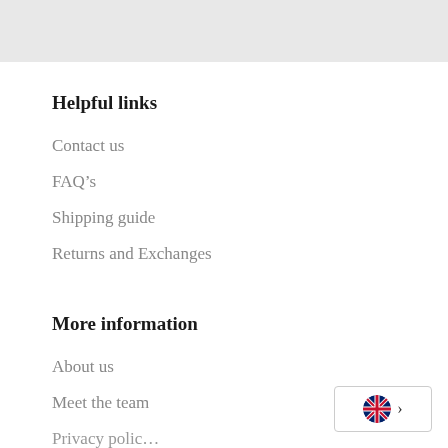Helpful links
Contact us
FAQ’s
Shipping guide
Returns and Exchanges
More information
About us
Meet the team
Privacy polic…